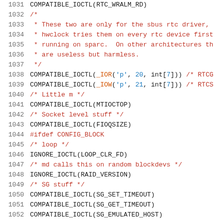[Figure (screenshot): Source code listing showing C preprocessor macros for IOCTL compatibility, lines 1031-1052, with syntax highlighting: line numbers in gray, macros in dark, function calls in red/orange, comments in red, string/number literals in blue.]